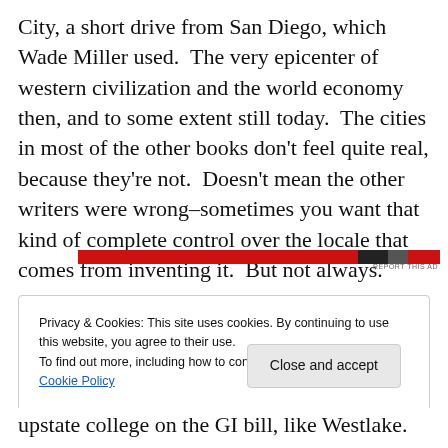City, a short drive from San Diego, which Wade Miller used.  The very epicenter of western civilization and the world economy then, and to some extent still today.  The cities in most of the other books don't feel quite real, because they're not.  Doesn't mean the other writers were wrong–sometimes you want that kind of complete control over the locale that comes from inventing it.  But not always.
[Figure (other): Advertisement banner with red bar and partial image]
REPORT THIS AD
Privacy & Cookies: This site uses cookies. By continuing to use this website, you agree to their use.
To find out more, including how to control cookies, see here: Cookie Policy
Close and accept
upstate college on the GI bill, like Westlake.  Got into